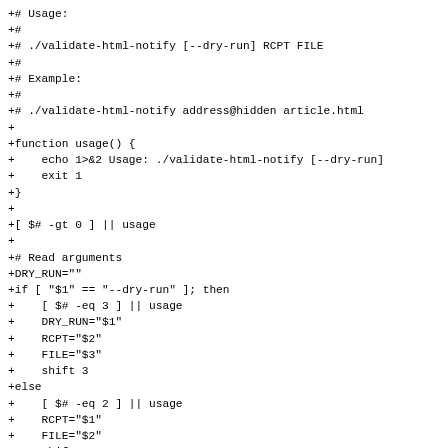+# Usage:
+#
+# ./validate-html-notify [--dry-run] RCPT FILE
+#
+# Example:
+#
+# ./validate-html-notify address@hidden article.html
+
+function usage() {
+    echo 1>&2 Usage: ./validate-html-notify [--dry-run]
+    exit 1
+}
+
+[ $# -gt 0 ] || usage
+
+# Read arguments
+DRY_RUN=""
+if [ "$1" == "--dry-run" ]; then
+    [ $# -eq 3 ] || usage
+    DRY_RUN="$1"
+    RCPT="$2"
+    FILE="$3"
+    shift 3
+else
+    [ $# -eq 2 ] || usage
+    RCPT="$1"
+    FILE="$2"
+    shift 2
+fi
+
+SUB1 "[GNUN Error] ${FILE#../} is not valid XHTML"